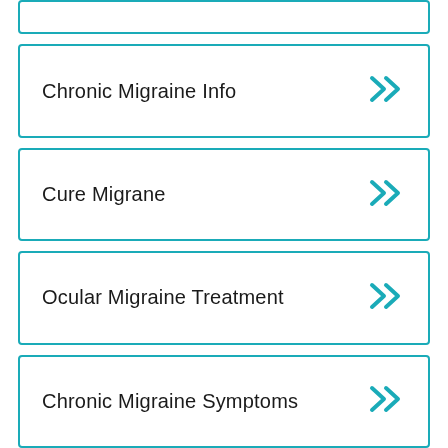Chronic Migraine Info
Cure Migrane
Ocular Migraine Treatment
Chronic Migraine Symptoms